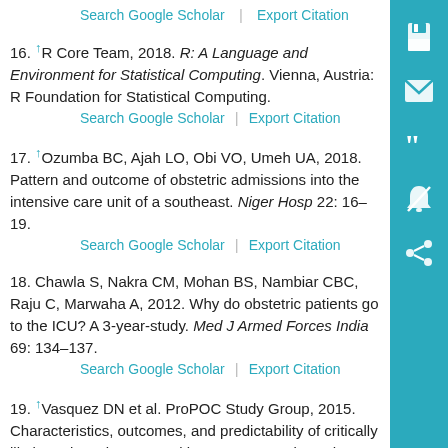Search Google Scholar | Export Citation
16. ↑R Core Team, 2018. R: A Language and Environment for Statistical Computing. Vienna, Austria: R Foundation for Statistical Computing.
Search Google Scholar | Export Citation
17. ↑Ozumba BC, Ajah LO, Obi VO, Umeh UA, 2018. Pattern and outcome of obstetric admissions into the intensive care unit of a southeast. Niger Hosp 22: 16–19.
Search Google Scholar | Export Citation
18. Chawla S, Nakra CM, Mohan BS, Nambiar CBC, Raju C, Marwaha A, 2012. Why do obstetric patients go to the ICU? A 3-year-study. Med J Armed Forces India 69: 134–137.
Search Google Scholar | Export Citation
19. ↑Vasquez DN et al. ProPOC Study Group, 2015. Characteristics, outcomes, and predictability of critically ill obstetric patients: a multicenter prospective cohort study.